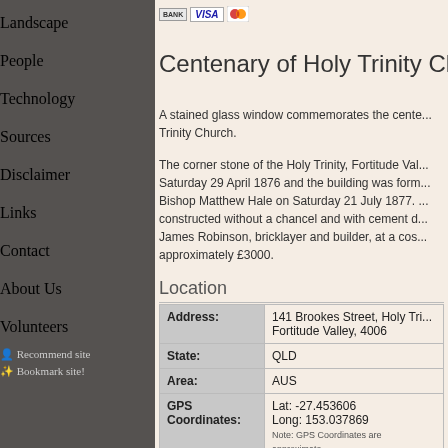[Figure (other): Payment icons: BANK transfer, VISA, MasterCard]
Centenary of Holy Trinity Chu...
A stained glass window commemorates the cente... Trinity Church.
The corner stone of the Holy Trinity, Fortitude Val... Saturday 29 April 1876 and the building was form... Bishop Matthew Hale on Saturday 21 July 1877. ... constructed without a chancel and with cement d... James Robinson, bricklayer and builder, at a cos... approximately £3000.
Location
|  |  |
| --- | --- |
| Address: | 141 Brookes Street, Holy Tri... Fortitude Valley, 4006 |
| State: | QLD |
| Area: | AUS |
| GPS Coordinates: | Lat: -27.453606
Long: 153.037869
Note: GPS Coordinates are approximate. |
Landscape
People
Technology
Sources
Disclaimer
Links
Contact
About Us
Volunteers
Recommend site
Bookmark site!